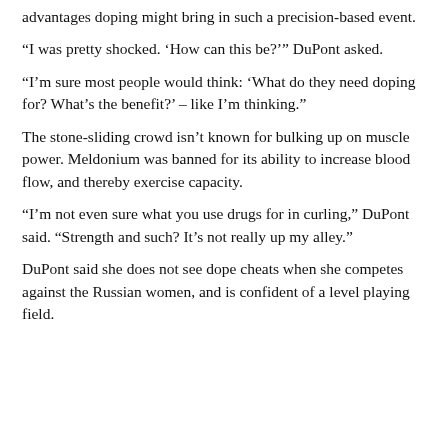advantages doping might bring in such a precision-based event.
“I was pretty shocked. ‘How can this be?’” DuPont asked.
“I’m sure most people would think: ‘What do they need doping for? What’s the benefit?’ – like I’m thinking.”
The stone-sliding crowd isn’t known for bulking up on muscle power. Meldonium was banned for its ability to increase blood flow, and thereby exercise capacity.
“I’m not even sure what you use drugs for in curling,” DuPont said. “Strength and such? It’s not really up my alley.”
DuPont said she does not see dope cheats when she competes against the Russian women, and is confident of a level playing field.